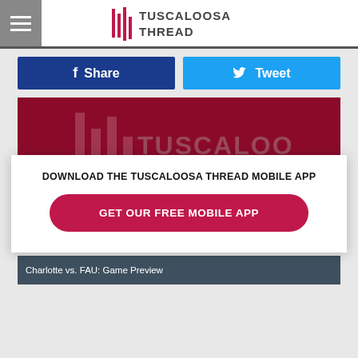Tuscaloosa Thread
Share
Tweet
[Figure (logo): Tuscaloosa Thread logo on dark red background]
DOWNLOAD THE TUSCALOOSA THREAD MOBILE APP
GET OUR FREE MOBILE APP
Charlotte vs. FAU: Game Preview